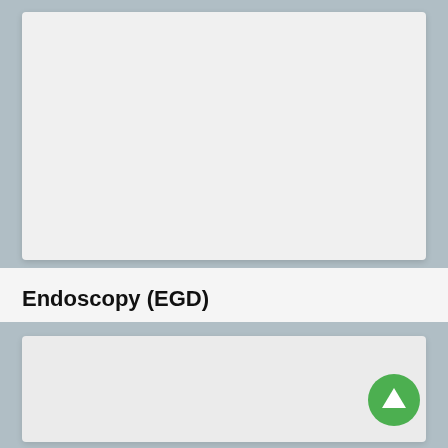[Figure (other): Gray card/panel placeholder at the top of the screen, likely containing hidden or scrolled-away content]
Endoscopy (EGD)
[Figure (other): Gray card/panel placeholder at the bottom of the screen, likely a content card for Endoscopy (EGD) section]